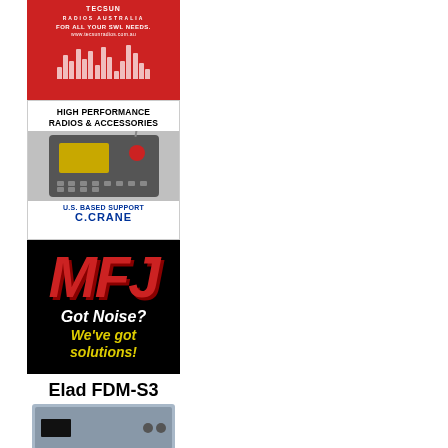[Figure (illustration): Tecsun Radios Australia advertisement — red background with equalizer-style bar graphics, text: TECSUN RADIOS AUSTRALIA, FOR ALL YOUR SWL NEEDS., www.tecsunradios.com.au]
[Figure (illustration): C.Crane advertisement — white background with image of portable radio receiver, text: HIGH PERFORMANCE RADIOS & ACCESSORIES, U.S. BASED SUPPORT, C.CRANE]
[Figure (illustration): MFJ advertisement — black background with large red MFJ logo letters, text: Got Noise? We've got solutions!]
[Figure (illustration): Elad FDM-S3 advertisement — white background with image of the Elad FDM-S3 radio receiver unit, text: Elad FDM-S3, Now Available]